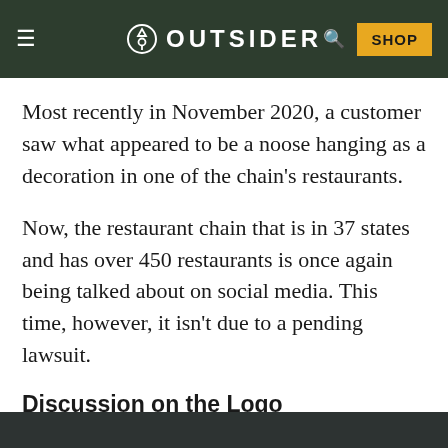OUTSIDER — SHOP
Most recently in November 2020, a customer saw what appeared to be a noose hanging as a decoration in one of the chain’s restaurants.
Now, the restaurant chain that is in 37 states and has over 450 restaurants is once again being talked about on social media. This time, however, it isn’t due to a pending lawsuit.
Discussion on the Logo
According to Mashable, it all started when a